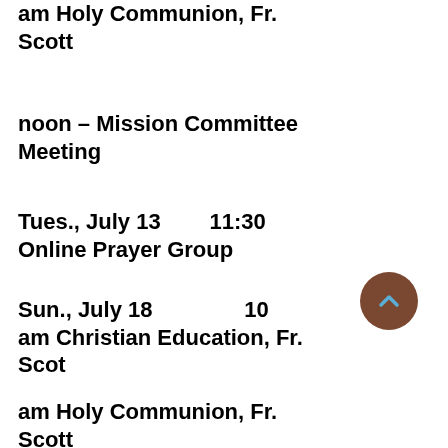am Holy Communion, Fr. Scott
noon – Mission Committee Meeting
Tues., July 13        11:30 Online Prayer Group
Sun., July 18                10 am Christian Education, Fr. Scot
am Holy Communion, Fr. Scott